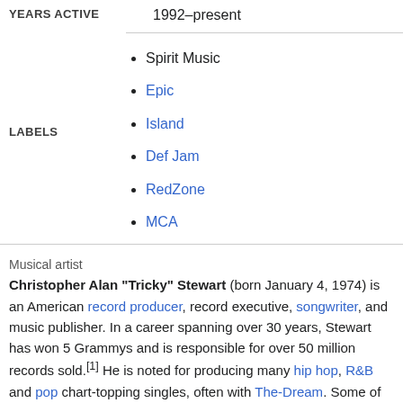| Field | Value |
| --- | --- |
| YEARS ACTIVE | 1992–present |
| LABELS | Spirit Music, Epic, Island, Def Jam, RedZone, MCA |
Musical artist
Christopher Alan "Tricky" Stewart (born January 4, 1974) is an American record producer, record executive, songwriter, and music publisher. In a career spanning over 30 years, Stewart has won 5 Grammys and is responsible for over 50 million records sold.[1] He is noted for producing many hip hop, R&B and pop chart-topping singles, often with The-Dream. Some of